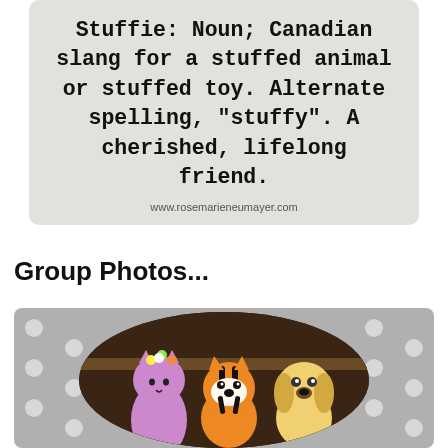[Figure (other): Definition card with textured gray background reading: 'Stuffie: Noun; Canadian slang for a stuffed animal or stuffed toy. Alternate spelling, "stuffy". A cherished, lifelong friend.' with URL www.rosemarieneumayer.com at bottom]
Group Photos...
[Figure (photo): Photo of three crocheted stuffed animals arranged in a circular/oval frame against a gray polka-dot background: a purple cat with flower crown on left, an orange and black tiger in the middle, and a yellow dog on the right]